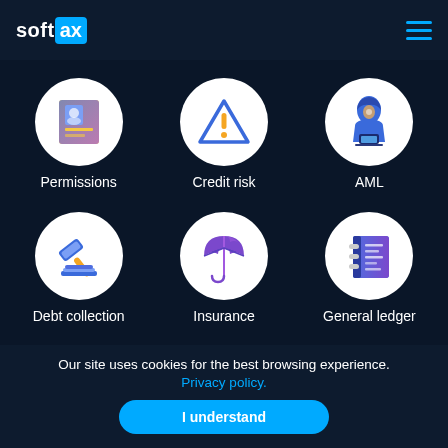softax
[Figure (illustration): 6 icon grid: Permissions (ID card), Credit risk (warning triangle), AML (hooded figure with laptop), Debt collection (gavel), Insurance (umbrella), General ledger (notebook)]
Permissions
Credit risk
AML
Debt collection
Insurance
General ledger
Our site uses cookies for the best browsing experience. Privacy policy.
I understand